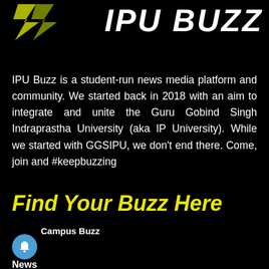[Figure (logo): IPU Buzz logo with stylized green/yellow chevron icon and bold italic white text 'IPU BUZZ' on black background]
IPU Buzz is a student-run news media platform and community. We started back in 2018 with an aim to integrate and unite the Guru Gobind Singh Indraprastha University (aka IP University). While we started with GGSIPU, we don't end there. Come, join and #keepbuzzing
Find Your Buzz Here
Campus Buzz
News